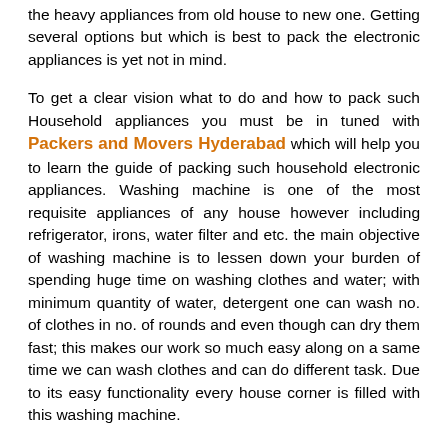the heavy appliances from old house to new one. Getting several options but which is best to pack the electronic appliances is yet not in mind.
To get a clear vision what to do and how to pack such Household appliances you must be in tuned with Packers and Movers Hyderabad which will help you to learn the guide of packing such household electronic appliances. Washing machine is one of the most requisite appliances of any house however including refrigerator, irons, water filter and etc. the main objective of washing machine is to lessen down your burden of spending huge time on washing clothes and water; with minimum quantity of water, detergent one can wash no. of clothes in no. of rounds and even though can dry them fast; this makes our work so much easy along on a same time we can wash clothes and can do different task. Due to its easy functionality every house corner is filled with this washing machine.
So when doing Household Shifting in Hyderabad packing washing machine and shifting it can be little bit exhausting